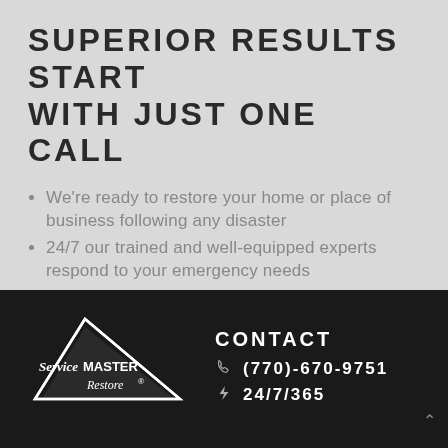SUPERIOR RESULTS START WITH JUST ONE CALL
We're ready to restore your home or place of business following any disaster
24/7 our trained and well-equipped experts respond to your emergency needs
With you as our priority, we say what we do and do what we say
[Figure (logo): ServiceMaster Restore logo with triangle graphic, white text on black background]
CONTACT
(770)-670-9751
24/7/365